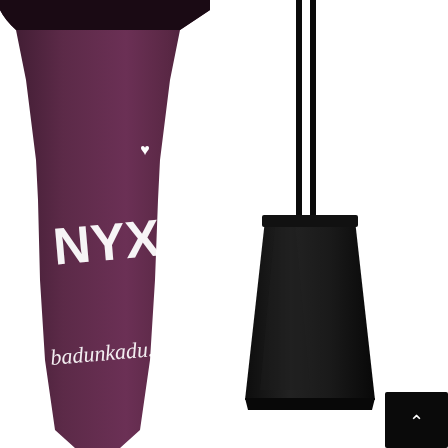[Figure (photo): NYX Badunkadunk Lush Lashes Mascara product photo showing the dark plum/purple mascara tube on the left with white NYX logo and 'badunkadunk' branding text and 'LUSH LASHES MASCARA' text, alongside the open black mascara wand/brush applicator on the right against a white background. A small black navigation arrow button is visible in the bottom right corner.]